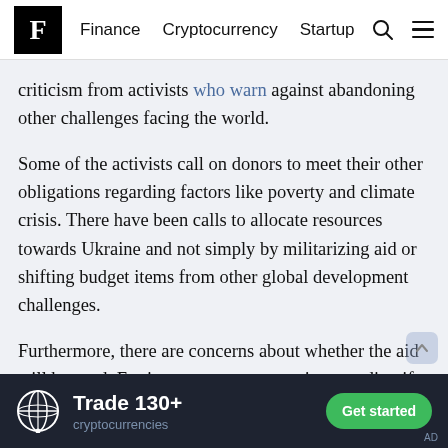F  Finance  Cryptocurrency  Startup
criticism from activists who warn against abandoning other challenges facing the world.
Some of the activists call on donors to meet their other obligations regarding factors like poverty and climate crisis. There have been calls to allocate resources towards Ukraine and not simply by militarizing aid or shifting budget items from other global development challenges.
Furthermore, there are concerns about whether the aid will be used. For instance, concerns exist regarding if all military assistance can be put to good use. It is not clear if the high-tech military equipment will be used, considering that most
[Figure (infographic): Advertisement banner: crypto trading platform. Shows a coin icon, text 'Trade 130+ cryptocurrencies', and a green 'Get started' button. Dark background.]